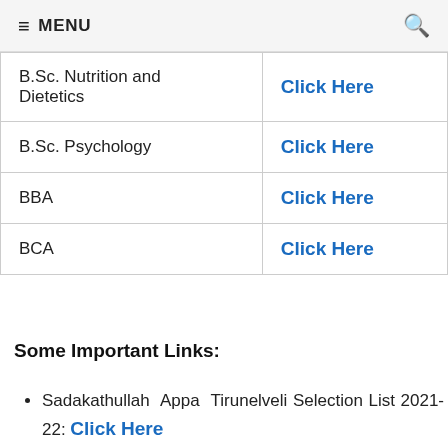≡ MENU  🔍
| Course | Link |
| --- | --- |
| B.Sc. Nutrition and Dietetics | Click Here |
| B.Sc. Psychology | Click Here |
| BBA | Click Here |
| BCA | Click Here |
Some Important Links:
Sadakathullah Appa Tirunelveli Selection List 2021-22: Click Here